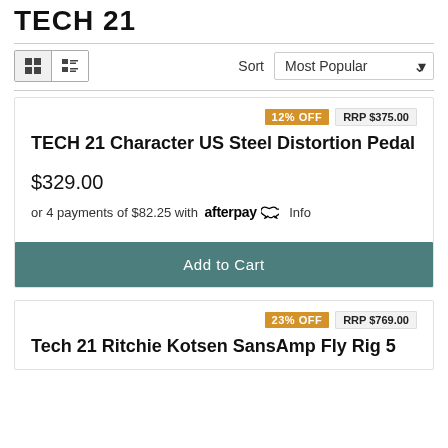TECH 21
[Figure (other): Toolbar with grid/list view toggle buttons and a Sort dropdown showing 'Most Popular']
12% OFF  RRP $375.00
TECH 21 Character US Steel Distortion Pedal
$329.00
or 4 payments of $82.25 with afterpay Info
Add to Cart
23% OFF  RRP $769.00
Tech 21 Ritchie Kotsen SansAmp Fly Rig 5